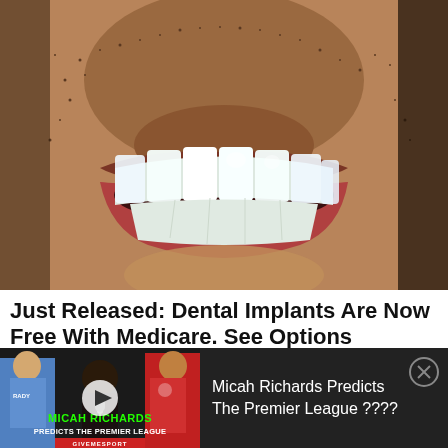[Figure (photo): Close-up photo of a man's mouth showing bright white dental implants/teeth, with stubble visible around the mouth area, on a dark background]
Just Released: Dental Implants Are Now Free With Medicare. See Options
Dental Implant | Search Ads | Sponsored
[Figure (screenshot): Video thumbnail showing soccer players including Erling Haaland in blue Manchester City kit and Mohamed Salah in red Liverpool kit, with a man at a microphone in the center. Green text overlay reads 'MICAH RICHARDS' and white text reads 'PREDICTS THE PREMIER LEAGUE' with GIVEMESPORT branding. A play button is overlaid on the thumbnail.]
Micah Richards Predicts The Premier League ????